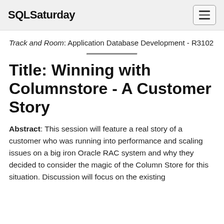SQLSaturday
Track and Room: Application Database Development - R3102
Title: Winning with Columnstore - A Customer Story
Abstract: This session will feature a real story of a customer who was running into performance and scaling issues on a big iron Oracle RAC system and why they decided to consider the magic of the Column Store for this situation. Discussion will focus on the existing